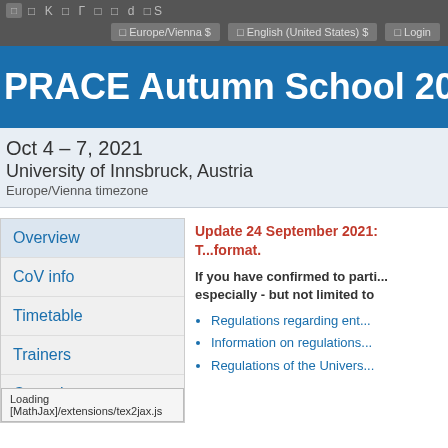Europe/Vienna $   English (United States) $   Login
PRACE Autumn School 2021 - GP
Oct 4 – 7, 2021
University of Innsbruck, Austria
Europe/Vienna timezone
Overview
CoV info
Timetable
Trainers
Committees
Update 24 September 2021: T... format.
If you have confirmed to parti... especially - but not limited to
Regulations regarding ent...
Information on regulations...
Regulations of the Univers...
Loading [MathJax]/extensions/tex2jax.js